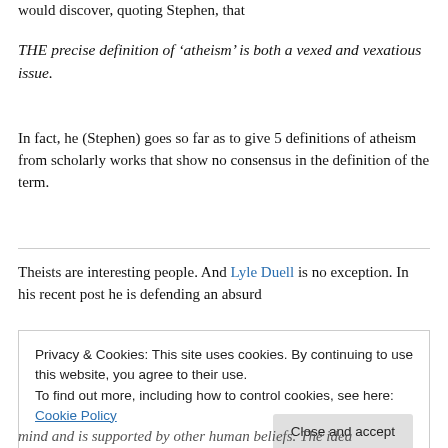would discover, quoting Stephen, that
THE precise definition of ‘atheism’ is both a vexed and vexatious issue.
In fact, he (Stephen) goes so far as to give 5 definitions of atheism from scholarly works that show no consensus in the definition of the term.
Theists are interesting people. And Lyle Duell is no exception. In his recent post he is defending an absurd
Privacy & Cookies: This site uses cookies. By continuing to use this website, you agree to their use.
To find out more, including how to control cookies, see here: Cookie Policy
mind and is supported by other human beliefs. The idea